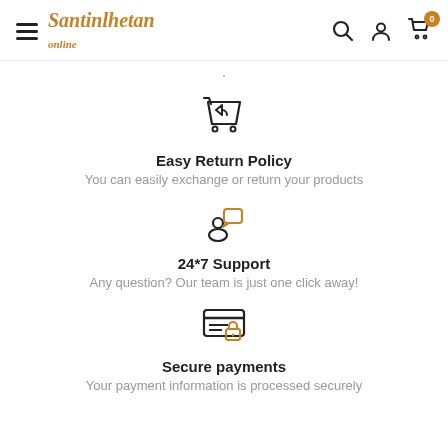Santinlhetan Online — navigation header with search, account, cart icons
[Figure (illustration): Shopping cart with return arrow icon (outline style)]
Easy Return Policy
You can easily exchange or return your products
[Figure (illustration): Person with speech/chat bubble icon (customer support, in orange/dark outline style)]
24*7 Support
Any question? Our team is just one click away!
[Figure (illustration): Credit card with lock icon (secure payments)]
Secure payments
Your payment information is processed securely